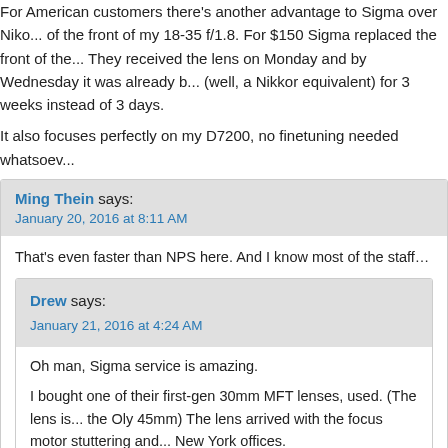For American customers there's another advantage to Sigma over Niko... of the front of my 18-35 f/1.8. For $150 Sigma replaced the front of the... They received the lens on Monday and by Wednesday it was already b... (well, a Nikkor equivalent) for 3 weeks instead of 3 days.
It also focuses perfectly on my D7200, no finetuning needed whatsoev...
Ming Thein says: January 20, 2016 at 8:11 AM
That's even faster than NPS here. And I know most of the staff…
Drew says: January 21, 2016 at 4:24 AM
Oh man, Sigma service is amazing.
I bought one of their first-gen 30mm MFT lenses, used. (The lens is... the Oly 45mm) The lens arrived with the focus motor stuttering and... New York offices.
A week later, the box was back at my door. The speed of the return... to fix suggested the lens had never made it to their service center...